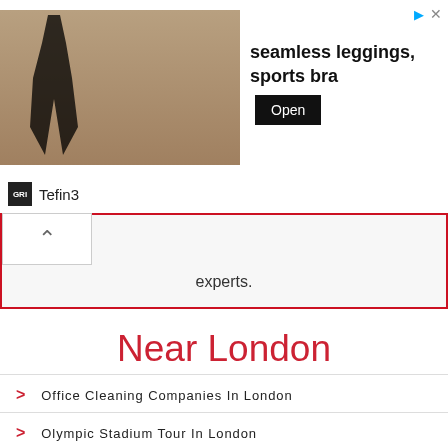[Figure (screenshot): Advertisement banner showing a person in sportswear with text 'seamless leggings, sports bra' and an Open button]
Tefin3
experts.
Near London
Office Cleaning Companies In London
Olympic Stadium Tour In London
Office Chair Shops En London
Orange Shops In London
Olive Oil Shops In London
Ozone Therapy Clinics In London